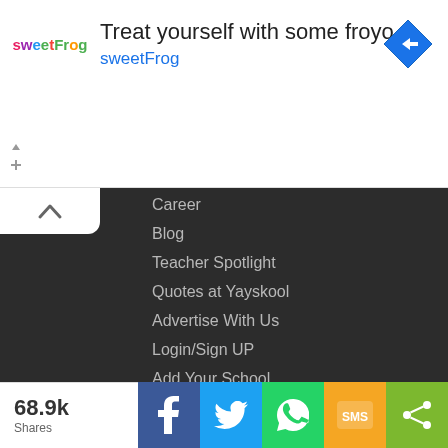[Figure (screenshot): Advertisement banner for sweetFrog frozen yogurt with logo, headline 'Treat yourself with some froyo', brand name 'sweetFrog', and a blue navigation/directions icon]
Career
Blog
Teacher Spotlight
Quotes at Yayskool
Advertise With Us
Login/Sign UP
Add Your School
CONTACT
Support Ticket
Email
68.9k Shares